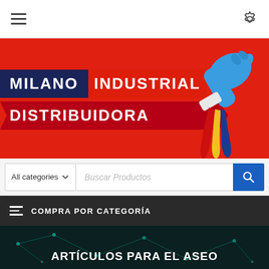Navigation bar with hamburger menu and settings icon
[Figure (illustration): Hero banner with red background showing Milano Industrial Distribuidora logo and a hand wearing blue glove holding colored cloths (red, yellow, blue)]
All categories  Buscar Productos
COMPRA POR CATEGORÍA
ARTÍCULOS PARA EL ASEO